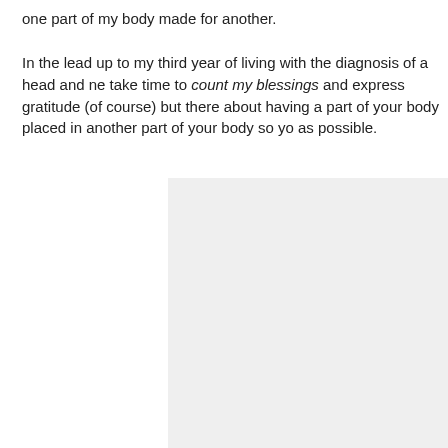one part of my body made for another.
In the lead up to my third year of living with the diagnosis of a head and ne… take time to count my blessings and express gratitude (of course) but there… about having a part of your body placed in another part of your body so yo… as possible.
[Figure (photo): A light grey rectangular image placeholder, partially visible on the right side of the page.]